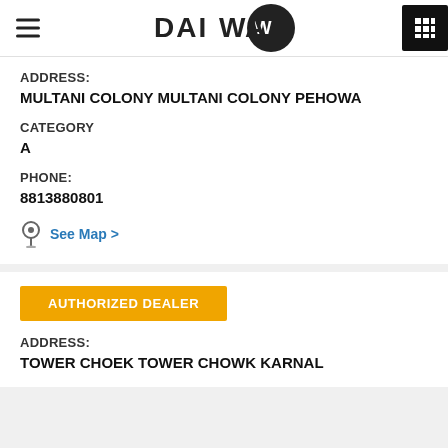DAIWA
ADDRESS:
MULTANI COLONY MULTANI COLONY PEHOWA
CATEGORY
A
PHONE:
8813880801
See Map >
AUTHORIZED DEALER
ADDRESS:
TOWER CHOEK TOWER CHOWK KARNAL